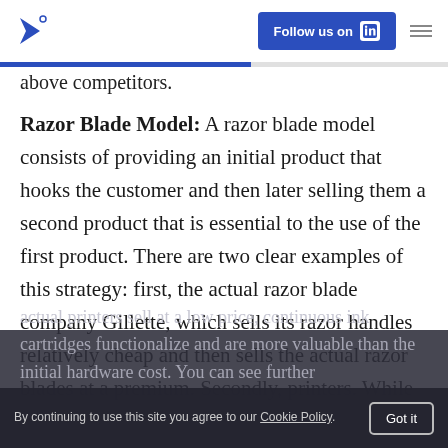Follow us on LinkedIn
above competitors.
Razor Blade Model: A razor blade model consists of providing an initial product that hooks the customer and then later selling them a second product that is essential to the use of the first product. There are two clear examples of this strategy: first, the actual razor blade company Gillette, which sells its razor handles relatively cheap and then sells the actual razor blades at a premium. Secondly, printers. While
actual printers sell at a low price, continuous ink cartridges functionalize and are more valuable than the initial hardware cost. You can see further
By continuing to use this site you agree to our Cookie Policy.